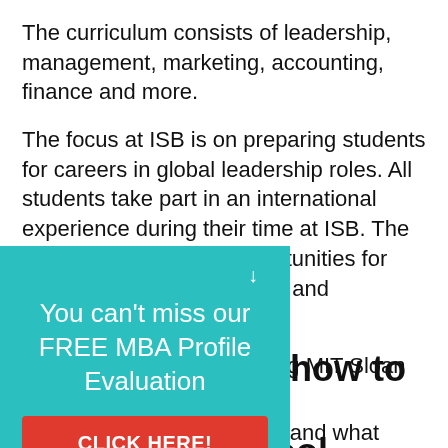The curriculum consists of leadership, management, marketing, accounting, finance and more.
The focus at ISB is on preparing students for careers in global leadership roles. All students take part in an international experience during their time at ISB. The school offers several opportunities for international…and exchanges with …de (including MIT Sloan …ol).
[Figure (infographic): Teal popup overlay with text 'You can't miss our FREE MBA Profile Evaluation' and a red 'CLICK HERE!' button]
ing of how to 2022 e school
u must understand what es, faculty, and post-MBA